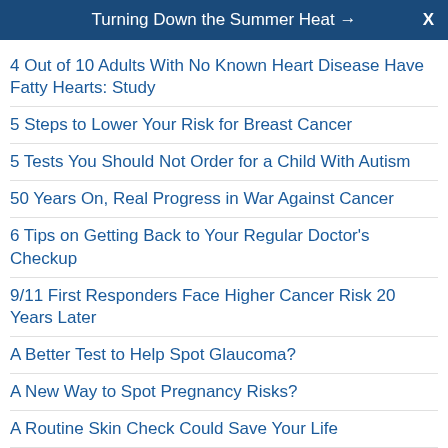Turning Down the Summer Heat →
4 Out of 10 Adults With No Known Heart Disease Have Fatty Hearts: Study
5 Steps to Lower Your Risk for Breast Cancer
5 Tests You Should Not Order for a Child With Autism
50 Years On, Real Progress in War Against Cancer
6 Tips on Getting Back to Your Regular Doctor's Checkup
9/11 First Responders Face Higher Cancer Risk 20 Years Later
A Better Test to Help Spot Glaucoma?
A New Way to Spot Pregnancy Risks?
A Routine Skin Check Could Save Your Life
A Third of COVID Survivors Have Long-Haul Symptoms, Even After Mild Cases